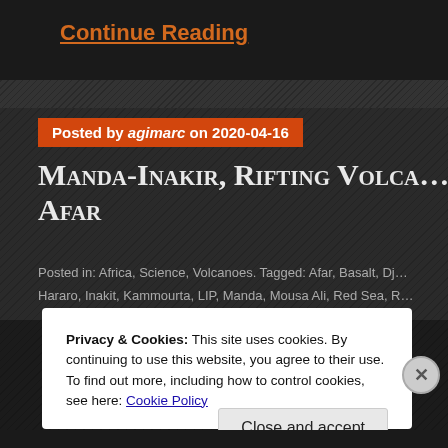Continue Reading
Posted by agimarc on 2020-04-16
Manda-Inakir, Rifting Volca… Afar
Posted in: Africa, Science, Volcanoes. Tagged: Afar, Basalt, Dj…
Hararo, Inakit, Kammourta, LIP, Manda, Mousa Ali, Red Sea, R…
Privacy & Cookies: This site uses cookies. By continuing to use this website, you agree to their use.
To find out more, including how to control cookies, see here: Cookie Policy
Close and accept